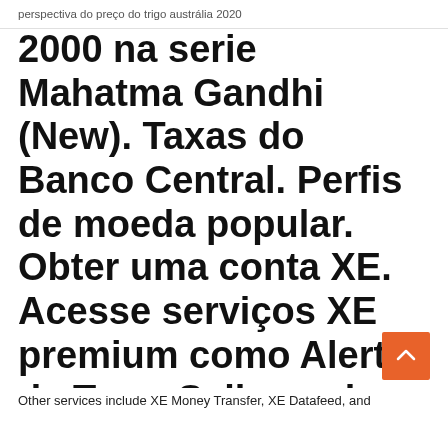perspectiva do preço do trigo austrália 2020
2000 na serie Mahatma Gandhi (New). Taxas do Banco Central. Perfis de moeda popular. Obter uma conta XE. Acesse serviços XE premium como Alertas de Taxa. Saiba mais Serviços Forex na Índia - Compre Forex ou envie dinheiro para o exterior.
Other services include XE Money Transfer, XE Datafeed, and